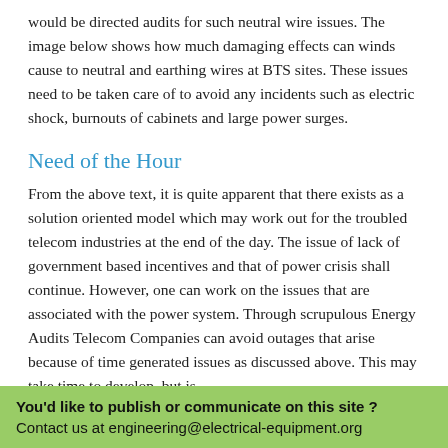would be directed audits for such neutral wire issues. The image below shows how much damaging effects can winds cause to neutral and earthing wires at BTS sites. These issues need to be taken care of to avoid any incidents such as electric shock, burnouts of cabinets and large power surges.
Need of the Hour
From the above text, it is quite apparent that there exists as a solution oriented model which may work out for the troubled telecom industries at the end of the day. The issue of lack of government based incentives and that of power crisis shall continue. However, one can work on the issues that are associated with the power system. Through scrupulous Energy Audits Telecom Companies can avoid outages that arise because of time generated issues as discussed above. This may take time to develop, but is
You'd like to publish or communicate on this site ?
Contact us at engineering@electrical-equipment.org